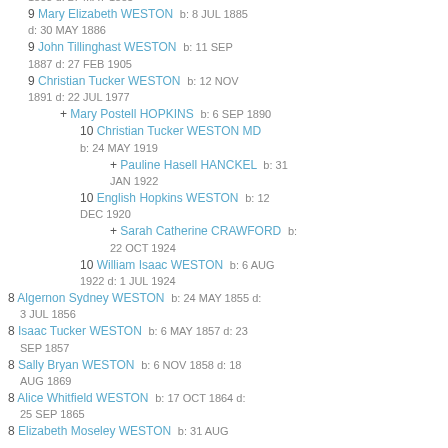9 Mary Elizabeth WESTON  b: 8 JUL 1885 d: 30 MAY 1886
9 John Tillinghast WESTON  b: 11 SEP 1887 d: 27 FEB 1905
9 Christian Tucker WESTON  b: 12 NOV 1891 d: 22 JUL 1977
+ Mary Postell HOPKINS  b: 6 SEP 1890
10 Christian Tucker WESTON MD  b: 24 MAY 1919
+ Pauline Hasell HANCKEL  b: 31 JAN 1922
10 English Hopkins WESTON  b: 12 DEC 1920
+ Sarah Catherine CRAWFORD  b: 22 OCT 1924
10 William Isaac WESTON  b: 6 AUG 1922 d: 1 JUL 1924
8 Algernon Sydney WESTON  b: 24 MAY 1855 d: 3 JUL 1856
8 Isaac Tucker WESTON  b: 6 MAY 1857 d: 23 SEP 1857
8 Sally Bryan WESTON  b: 6 NOV 1858 d: 18 AUG 1869
8 Alice Whitfield WESTON  b: 17 OCT 1864 d: 25 SEP 1865
8 Elizabeth Moseley WESTON  b: 31 AUG